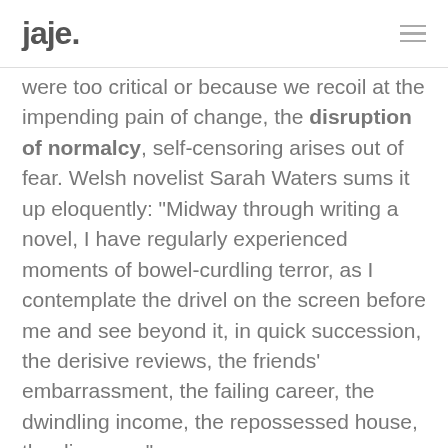jaje.
were too critical or because we recoil at the impending pain of change, the disruption of normalcy, self-censoring arises out of fear. Welsh novelist Sarah Waters sums it up eloquently: “Midway through writing a novel, I have regularly experienced moments of bowel-curdling terror, as I contemplate the drivel on the screen before me and see beyond it, in quick succession, the derisive reviews, the friends’ embarrassment, the failing career, the dwindling income, the repossessed house, the divorce…”